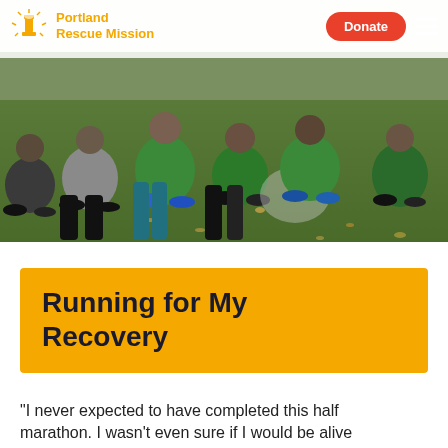Portland Rescue Mission | Donate
[Figure (photo): Group of runners and participants sitting and kneeling on grass, wearing green safety vests and athletic clothing, at what appears to be a running event.]
Running for My Recovery
“I never expected to have completed this half marathon. I wasn’t even sure if I would be alive